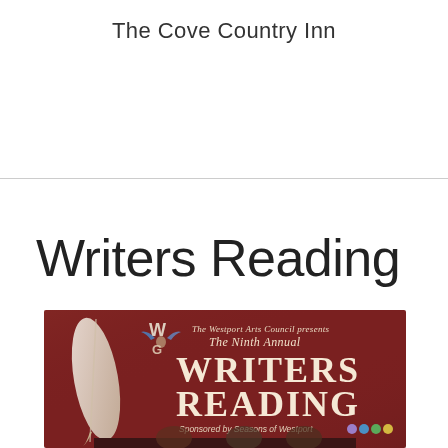The Cove Country Inn
Writers Reading
[Figure (illustration): Book cover for 'The Ninth Annual Writers Reading' presented by The Westport Arts Council, sponsored by Seasons of Westport. Features a large quill feather, WAC logo with blue winged figure, and decorative text on a dark red background with four colored circles (purple, blue, green, yellow) near the bottom.]